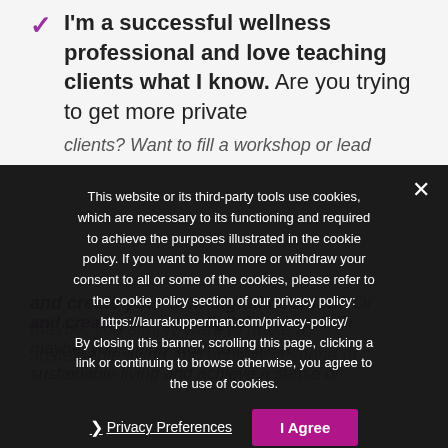I'm a successful wellness professional and love teaching clients what I know. Are you trying to get more private clients? Want to fill a workshop or lead retreats? Maybe you simply want to make a sustainable living and achieve a sense of success...
This website or its third-party tools use cookies, which are necessary to its functioning and required to achieve the purposes illustrated in the cookie policy. If you want to know more or withdraw your consent to all or some of the cookies, please refer to the cookie policy section of our privacy policy: https://laurakupperman.com/privacy-policy/ By closing this banner, scrolling this page, clicking a link or continuing to browse otherwise, you agree to the use of cookies.
Privacy Preferences
I Agree
professional since 2002, there's an excellent chance that I have done (and done well) many of the very things you are trying to figure out, as well as